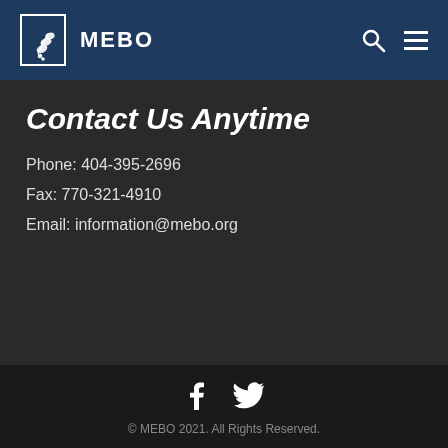MEBO
Contact Us Anytime
Phone: 404-395-2696
Fax: 770-321-4910
Email: information@mebo.org
[Figure (logo): Facebook and Twitter social media icons]
© MEBO 2021. All Rights Reserved.